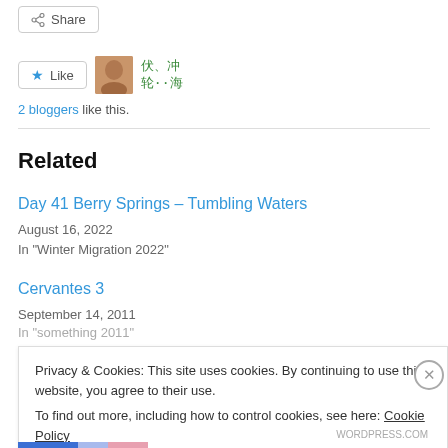[Figure (other): Share button with share icon]
[Figure (other): Like button with star icon, user avatar with QR-style overlay]
2 bloggers like this.
Related
Day 41 Berry Springs – Tumbling Waters
August 16, 2022
In "Winter Migration 2022"
Cervantes 3
September 14, 2011
Privacy & Cookies: This site uses cookies. By continuing to use this website, you agree to their use.
To find out more, including how to control cookies, see here: Cookie Policy
Close and accept